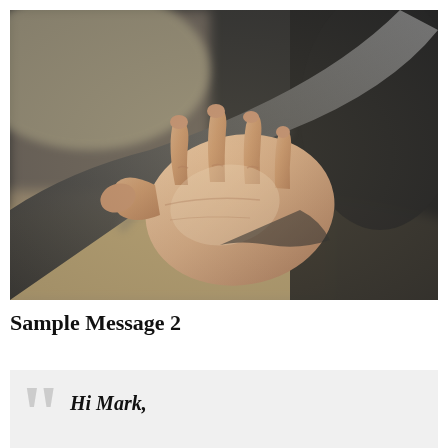[Figure (photo): Close-up photograph of a man's open hand/palm extended outward toward the viewer, wearing a dark suit jacket. Background is blurred showing a light-colored floor and dark wall.]
Sample Message 2
Hi Mark,